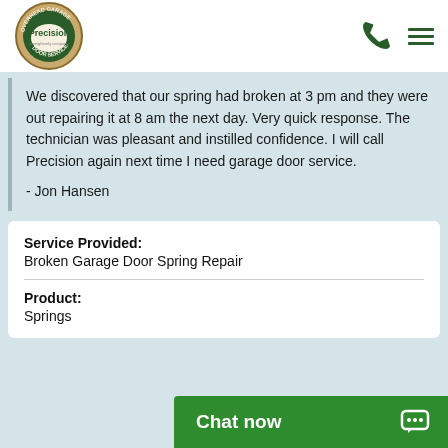[Figure (logo): Precision Door Service overhead garage logo - circular emblem with green and tan colors, 'a neighborly company' tagline below]
We discovered that our spring had broken at 3 pm and they were out repairing it at 8 am the next day. Very quick response. The technician was pleasant and instilled confidence. I will call Precision again next time I need garage door service.
- Jon Hansen
| Service Provided: | Broken Garage Door Spring Repair |
| Product: | Springs |